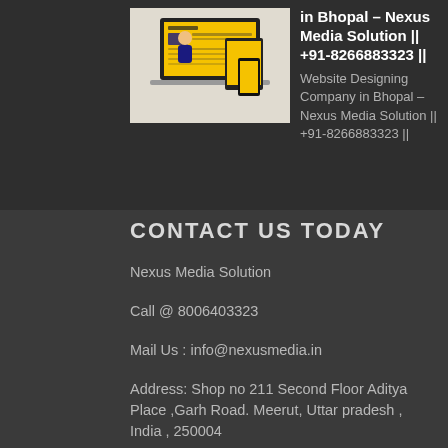[Figure (screenshot): Thumbnail image of a website design on laptop/tablet/phone screens with yellow and blue color scheme]
in Bhopal – Nexus Media Solution || +91-8266883323 ||
Website Designing Company in Bhopal – Nexus Media Solution || +91-8266883323 ||
CONTACT US TODAY
Nexus Media Solution
Call @ 8006403323
Mail Us : info@nexusmedia.in
Address: Shop no 211 Second Floor Aditya Place ,Garh Road. Meerut, Uttar pradesh , India , 250004
Opening : Monday-Sunday
Price Range: 10,000/-